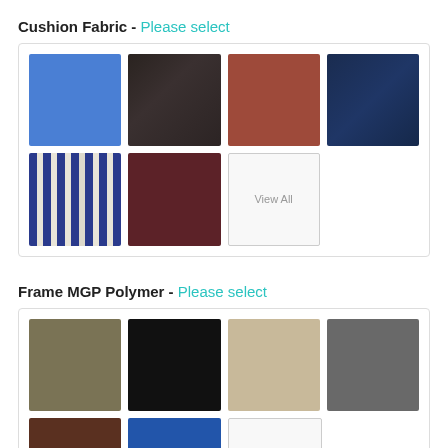Cushion Fabric - Please select
[Figure (illustration): Grid of 7 cushion fabric color swatches plus a 'View All' button: bright blue solid, black textured, red/terracotta solid, navy blue solid, blue and white stripe, dark brown solid, View All placeholder]
Frame MGP Polymer - Please select
[Figure (illustration): Grid of polymer frame color swatches: tan/khaki, black, sand/beige, gray, and partial row with brown and blue visible at bottom]